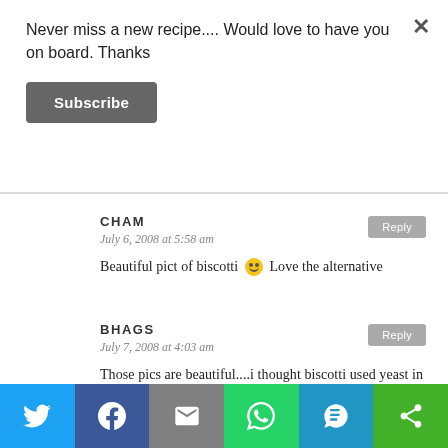Never miss a new recipe.... Would love to have you on board. Thanks
Subscribe
CHAM
July 6, 2008 at 5:58 am
Beautiful pict of biscotti 🙂 Love the alternative
BHAGS
July 7, 2008 at 4:03 am
Those pics are beautiful....i thought biscotti used yeast in it....this one seems an easy recipe....nice